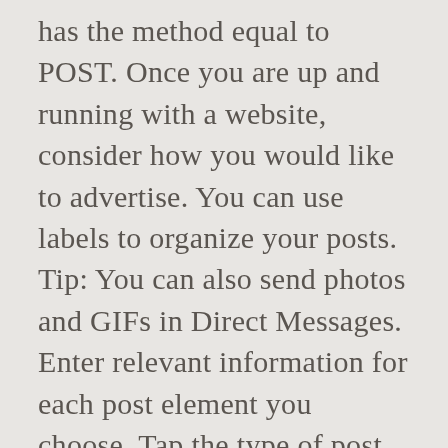has the method equal to POST. Once you are up and running with a website, consider how you would like to advertise. You can use labels to organize your posts. Tip: You can also send photos and GIFs in Direct Messages. Enter relevant information for each post element you choose. Tap the type of post you want to create: Update, Event, Offer, or Product. To create your post, tap the elements you want to add to your post: Photos, videos, text, events, offers, or a button to your post. Create your post. This page will vary depending on the category of your post. At the top of the page, choose the “COVID-19 update” tab. Click the post where you want to add a link. Australia Post has apologised after